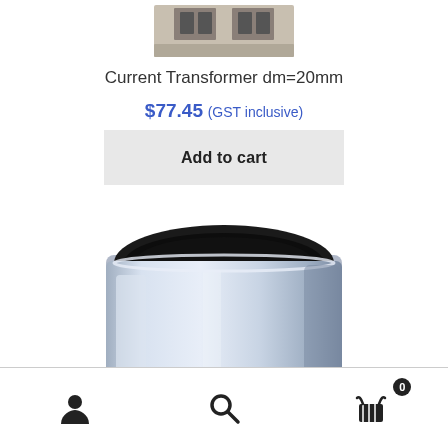[Figure (photo): Partial top view of a current transformer device with rectangular connectors visible at top, cropped image showing only the upper portion]
Current Transformer dm=20mm
$77.45 (GST inclusive)
Add to cart
[Figure (photo): Close-up photo of a cylindrical silver/chrome current transformer with a dark hollow opening at the top, showing the ring/toroid shape]
Navigation bar with account icon, search icon, and cart icon with badge showing 0